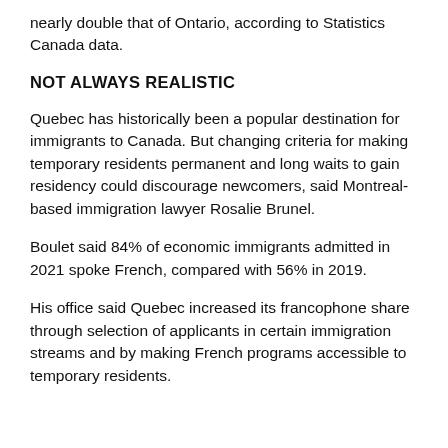nearly double that of Ontario, according to Statistics Canada data.
NOT ALWAYS REALISTIC
Quebec has historically been a popular destination for immigrants to Canada. But changing criteria for making temporary residents permanent and long waits to gain residency could discourage newcomers, said Montreal-based immigration lawyer Rosalie Brunel.
Boulet said 84% of economic immigrants admitted in 2021 spoke French, compared with 56% in 2019.
His office said Quebec increased its francophone share through selection of applicants in certain immigration streams and by making French programs accessible to temporary residents.